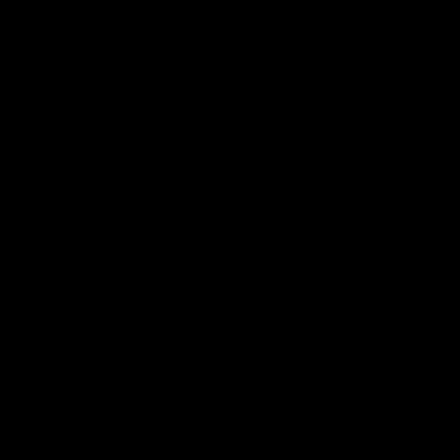[Figure (photo): Completely black page with no visible content]